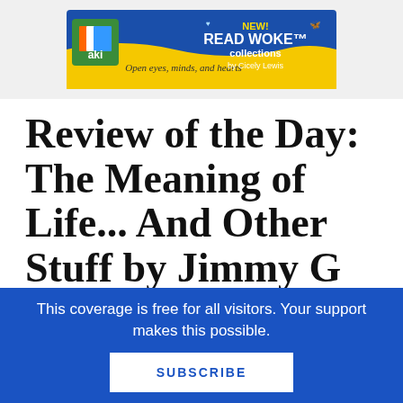[Figure (illustration): Advertisement banner for 'READ WOKE collections by Cicely Lewis' — shows AKI logo on left with yellow wave background and text 'Open eyes, minds, and hearts', 'NEW! READ WOKE™ collections by Cicely Lewis' with butterfly and heart decorations on a blue/yellow background]
Review of the Day: The Meaning of Life... And Other Stuff by Jimmy Gownley
This coverage is free for all visitors. Your support makes this possible.
SUBSCRIBE